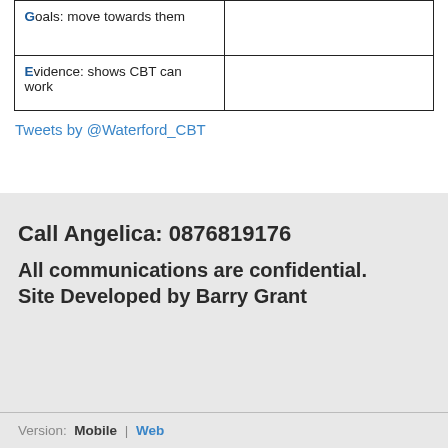| Goals: move towards them |  |
| Evidence: shows CBT can work |  |
Tweets by @Waterford_CBT
Call Angelica: 0876819176
All communications are confidential.
Site Developed by Barry Grant
Version: Mobile | Web